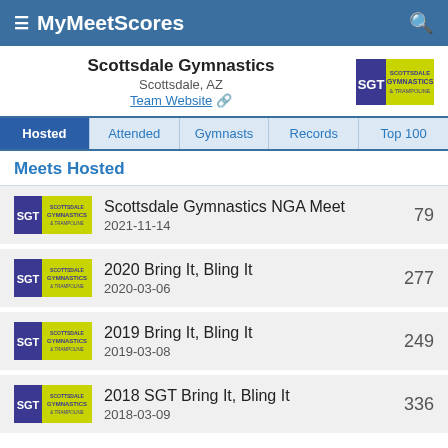MyMeetScores
Scottsdale Gymnastics
Scottsdale, AZ
Team Website
Hosted | Attended | Gymnasts | Records | Top 100
Meets Hosted
Scottsdale Gymnastics NGA Meet
2021-11-14
79
2020 Bring It, Bling It
2020-03-06
277
2019 Bring It, Bling It
2019-03-08
249
2018 SGT Bring It, Bling It
2018-03-09
336